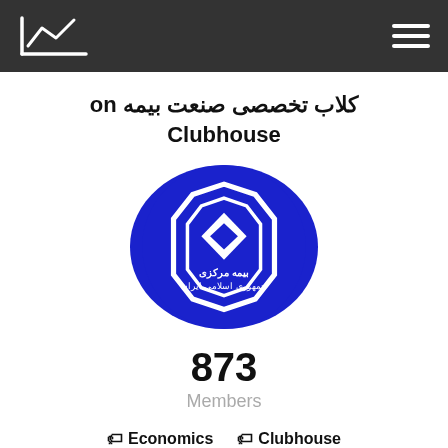کلاب تخصصی صنعت بیمه on Clubhouse
[Figure (logo): Circular blue logo of Bimeh Markazi (Central Insurance of Iran) with white geometric diamond/octagon symbol and Persian text بیمه مرکزی جمهوری اسلامی ایران]
873
Members
🏷 Economics  🏷 Clubhouse